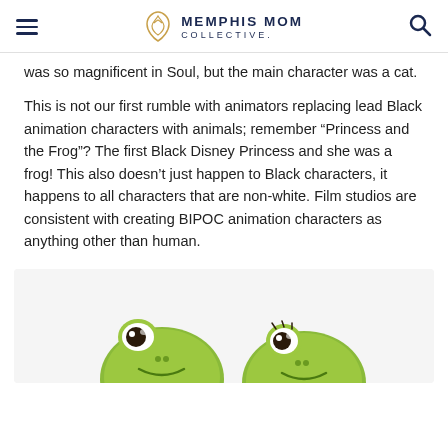Memphis Mom Collective
was so magnificent in Soul, but the main character was a cat.
This is not our first rumble with animators replacing lead Black animation characters with animals; remember “Princess and the Frog”? The first Black Disney Princess and she was a frog! This also doesn’t just happen to Black characters, it happens to all characters that are non-white. Film studios are consistent with creating BIPOC animation characters as anything other than human.
[Figure (illustration): Cartoon frog characters from Princess and the Frog, showing two green animated frog faces at the bottom of the image area]